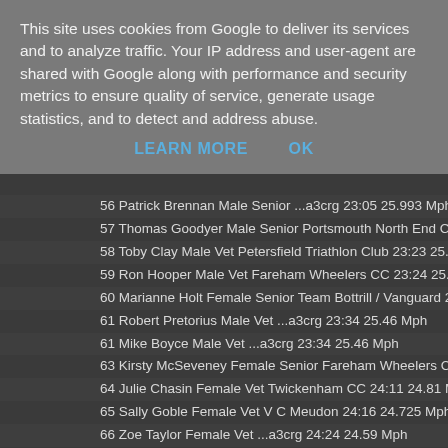This site uses cookies from Google to deliver its services and to analyze traffic. Your IP address and user-agent are shared with Google along with performance and security metrics to ensure quality of service, generate usage statistics, and to detect and address abuse.
LEARN MORE   OK
56 Patrick Brennan Male Senior ...a3crg 23:05 25.993 Mph
57 Thomas Goodyer Male Senior Portsmouth North End CC 23:
58 Toby Clay Male Vet Petersfield Triathlon Club 23:23 25.659 M
59 Ron Hooper Male Vet Fareham Wheelers CC 23:24 25.641
60 Marianne Holt Female Senior Team Bottrill / Vanguard 23:30
61 Robert Pretorius Male Vet ...a3crg 23:34 25.46 Mph
61 Mike Boyce Male Vet ...a3crg 23:34 25.46 Mph
63 Kirsty McSeveney Female Senior Fareham Wheelers CC 23:
64 Julie Chasin Female Vet Twickenham CC 24:11 24.81 Mph
65 Sally Goble Female Vet V C Meudon 24:16 24.725 Mph
66 Zoe Taylor Female Vet ...a3crg 24:24 24.59 Mph
67 John Beer Male Vet Kingston Phoenix RC 24:46 24.226 Mph
68 Alison Ford Female Vet GS Vecchi 24:57 24.048 Mph
69 John Isard Male Vet Hampshire Road Club 25:01 23.984 Mp
70 Lucy Mitchell Female Vet Petersfield Triathlon Club 25:12 23
71 Robyn Yates Female Vet Addiscombe CC 25:40 23.377 Mph
72 Deanna Ferrett Female Vet Hampshire Road Club 27:03 22